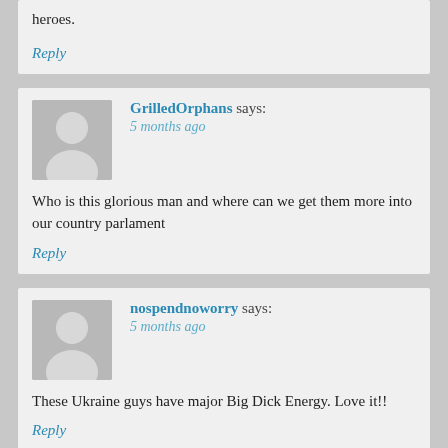heroes.
Reply
GrilledOrphans says:
5 months ago
Who is this glorious man and where can we get them more into our country parlament
Reply
nospendnoworry says:
5 months ago
These Ukraine guys have major Big Dick Energy. Love it!!
Reply